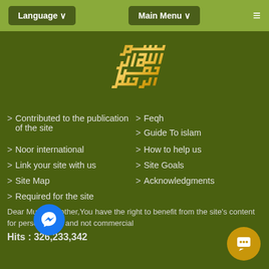Language ∨  Main Menu ∨  ≡
[Figure (illustration): Golden Arabic calligraphy on dark olive green background]
> Contributed to the publication of the site
> Feqh
> Guide To islam
> Noor international
> How to help us
> Link your site with us
> Site Goals
> Site Map
> Acknowledgments
> Required for the site
Dear Muslim brother,You have the right to benefit from the site's content for personal use and not commercial
Hits : 326,233,342